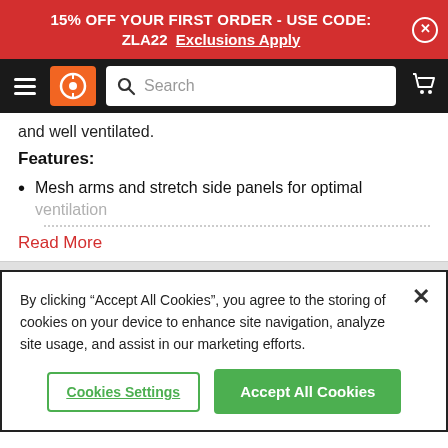15% OFF YOUR FIRST ORDER - USE CODE: ZLA22  Exclusions Apply
[Figure (screenshot): Navigation bar with hamburger menu, orange logo icon, search bar, and cart icon on black background]
and well ventilated.
Features:
Mesh arms and stretch side panels for optimal ventilation
Read More
By clicking “Accept All Cookies”, you agree to the storing of cookies on your device to enhance site navigation, analyze site usage, and assist in our marketing efforts.
Cookies Settings  Accept All Cookies